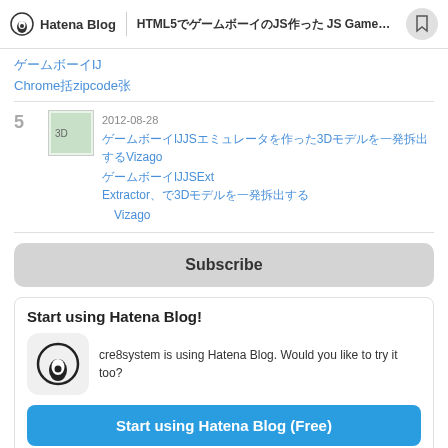Hatena Blog  HTML5でゲームボーイのJSエミュレータを作った JS GameBoy...
ゲームボーイ
Chrome拡張
[Figure (screenshot): Thumbnail image for entry 5]
5  3Dモデルを一発抽出 Extractor、で3Dモデルを一発抽出 2012-08-28  ゲームボーイのJSエミュレータを作った3Dモデルを一発抽出するVizagoブックマークレット  ゲームボーイのJSエミュレータを作った3Dモデルを一発抽出するVizagoブックマークレット
Subscribe
Start using Hatena Blog!
cre8system is using Hatena Blog. Would you like to try it too?
Start using Hatena Blog (Free)